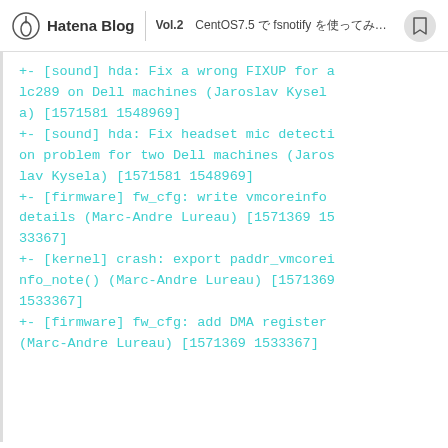Hatena Blog | Vol.2 CentOS7.5  fsnotify ...
+- [sound] hda: Fix a wrong FIXUP for alc289 on Dell machines (Jaroslav Kysela) [1571581 1548969]
+- [sound] hda: Fix headset mic detection problem for two Dell machines (Jaroslav Kysela) [1571581 1548969]
+- [firmware] fw_cfg: write vmcoreinfo details (Marc-Andre Lureau) [1571369 1533367]
+- [kernel] crash: export paddr_vmcoreinfo_note() (Marc-Andre Lureau) [1571369 1533367]
+- [firmware] fw_cfg: add DMA register (Marc-Andre Lureau) [1571369 1533367]